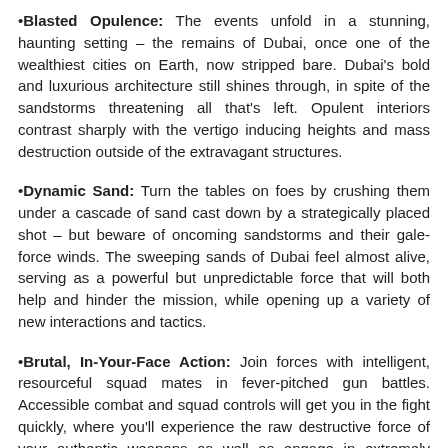•Blasted Opulence: The events unfold in a stunning, haunting setting – the remains of Dubai, once one of the wealthiest cities on Earth, now stripped bare. Dubai's bold and luxurious architecture still shines through, in spite of the sandstorms threatening all that's left. Opulent interiors contrast sharply with the vertigo inducing heights and mass destruction outside of the extravagant structures.
•Dynamic Sand: Turn the tables on foes by crushing them under a cascade of sand cast down by a strategically placed shot – but beware of oncoming sandstorms and their gale-force winds. The sweeping sands of Dubai feel almost alive, serving as a powerful but unpredictable force that will both help and hinder the mission, while opening up a variety of new interactions and tactics.
•Brutal, In-Your-Face Action: Join forces with intelligent, resourceful squad mates in fever-pitched gun battles. Accessible combat and squad controls will get you in the fight quickly, where you'll experience the raw destructive force of your authentic weapons as well as engage in extremely physical close-quarters battles.